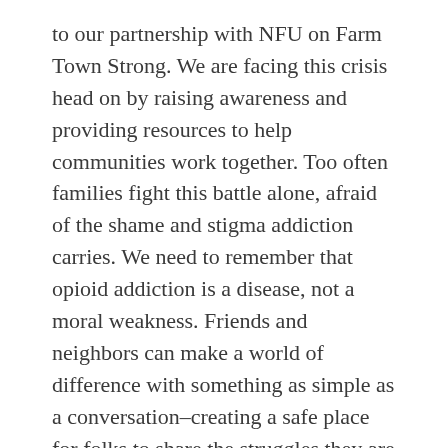to our partnership with NFU on Farm Town Strong. We are facing this crisis head on by raising awareness and providing resources to help communities work together. Too often families fight this battle alone, afraid of the shame and stigma addiction carries. We need to remember that opioid addiction is a disease, not a moral weakness. Friends and neighbors can make a world of difference with something as simple as a conversation–creating a safe place for folks to share the struggles they are facing. Recovery is possible, but it is a long road and takes the support of a community.
AFBF and NFU have seen fruit already with the conversation Farm Town Strong has started across our nation's countryside. We've heard